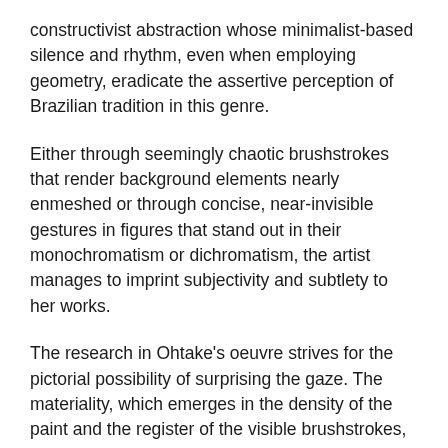constructivist abstraction whose minimalist-based silence and rhythm, even when employing geometry, eradicate the assertive perception of Brazilian tradition in this genre.
Either through seemingly chaotic brushstrokes that render background elements nearly enmeshed or through concise, near-invisible gestures in figures that stand out in their monochromatism or dichromatism, the artist manages to imprint subjectivity and subtlety to her works.
The research in Ohtake's oeuvre strives for the pictorial possibility of surprising the gaze. The materiality, which emerges in the density of the paint and the register of the visible brushstrokes, is neither deterministic nor dominating. It is, first and foremost, the expression of the gaze's relationship with the world.
According to Paulo Miyada's text for the exhibition, "we find, for instance, a square canvas, completely filled with textures made from a pigmented mass, in which we see a